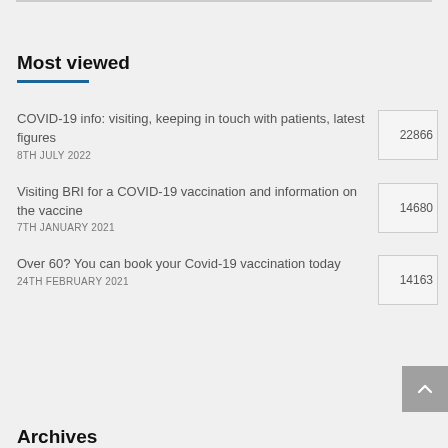Most viewed
COVID-19 info: visiting, keeping in touch with patients, latest figures
8TH JULY 2022
22866
Visiting BRI for a COVID-19 vaccination and information on the vaccine
7TH JANUARY 2021
14680
Over 60? You can book your Covid-19 vaccination today
24TH FEBRUARY 2021
14163
Archives